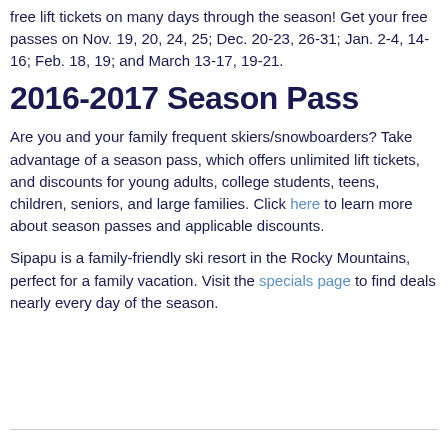free lift tickets on many days through the season! Get your free passes on Nov. 19, 20, 24, 25; Dec. 20-23, 26-31; Jan. 2-4, 14-16; Feb. 18, 19; and March 13-17, 19-21.
2016-2017 Season Pass
Are you and your family frequent skiers/snowboarders? Take advantage of a season pass, which offers unlimited lift tickets, and discounts for young adults, college students, teens, children, seniors, and large families. Click here to learn more about season passes and applicable discounts.
Sipapu is a family-friendly ski resort in the Rocky Mountains, perfect for a family vacation. Visit the specials page to find deals nearly every day of the season.